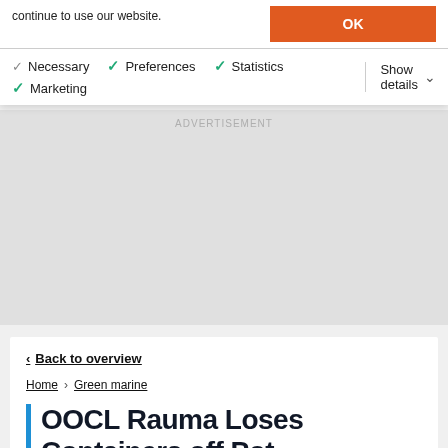continue to use our website.
OK
Necessary
Preferences
Statistics
Marketing
Show details
< Back to overview
Home > Green marine
OOCL Rauma Loses Containers off Pot...